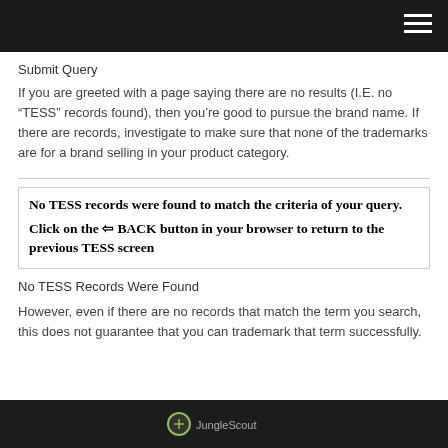Submit Query
If you are greeted with a page saying there are no results (I.E. no “TESS” records found), then you’re good to pursue the brand name. If there are records, investigate to make sure that none of the trademarks are for a brand selling in your product category.
No TESS records were found to match the criteria of your query.
Click on the ⇐ BACK button in your browser to return to the previous TESS screen
No TESS Records Were Found
However, even if there are no records that match the term you search, this does not guarantee that you can trademark that term successfully.
[Figure (screenshot): Dark bar at bottom with a circular logo icon]